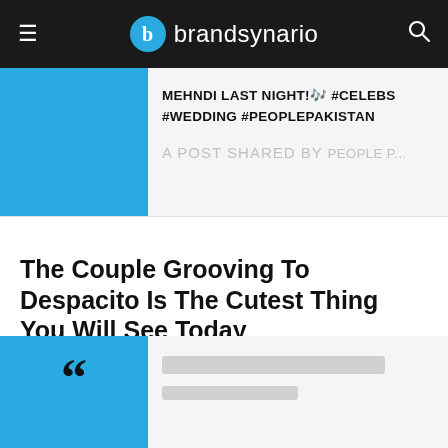brandsynario
[Figure (screenshot): Embedded social media post with blue sidebar, hashtags: MEHNDI LAST NIGHT! #CELEBS #WEDDING #PEOPLEPAKISTAN, and attribution: A POST SHARED BY PEOPLE P...]
The Couple Grooving To Despacito Is The Cutest Thing You Will See Today
[Figure (screenshot): Embedded content block with blue sidebar, large quotation mark, and blurred/placeholder content lines]